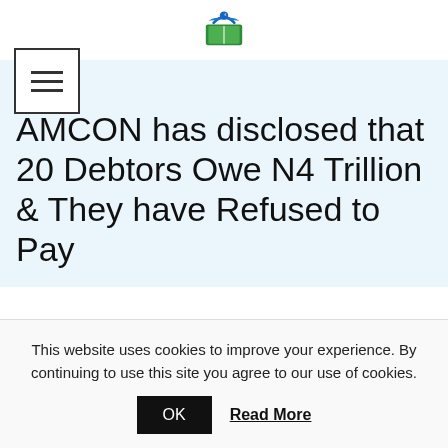[Figure (logo): Green book with bird logo icon]
[Figure (other): Hamburger menu icon button with three horizontal lines inside a square border]
Blog
AMCON has disclosed that 20 Debtors Owe N4 Trillion & They have Refused to Pay
This website uses cookies to improve your experience. By continuing to use this site you agree to our use of cookies.
OK   Read More